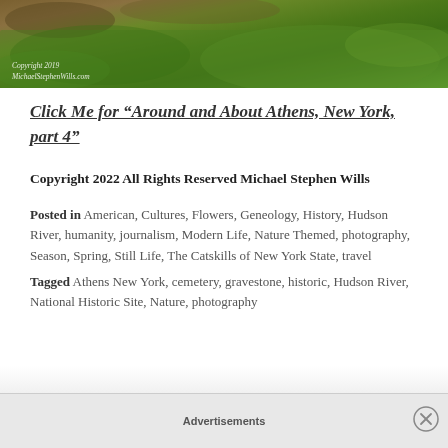[Figure (photo): Photograph of a grassy hillside with brown soil visible, containing a white script copyright watermark reading 'Copyright 2019 MichaelStephenWills.com']
Click Me for “Around and About Athens, New York, part 4”
Copyright 2022 All Rights Reserved Michael Stephen Wills
Posted in American, Cultures, Flowers, Geneology, History, Hudson River, humanity, journalism, Modern Life, Nature Themed, photography, Season, Spring, Still Life, The Catskills of New York State, travel
Tagged Athens New York, cemetery, gravestone, historic, Hudson River, National Historic Site, Nature, photography
Advertisements